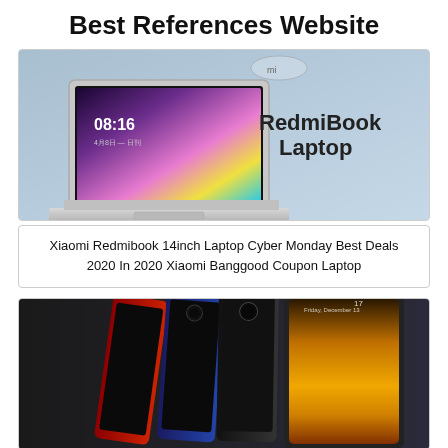Best References Website
[Figure (photo): Xiaomi RedmiBook Laptop product photo on light blue background with 'RedmiBook Laptop' text]
Xiaomi Redmibook 14inch Laptop Cyber Monday Best Deals 2020 In 2020 Xiaomi Banggood Coupon Laptop
[Figure (photo): Xiaomi smartphones in red, blue/black, and dark colors shown from back and front with golden/amber gradient display]